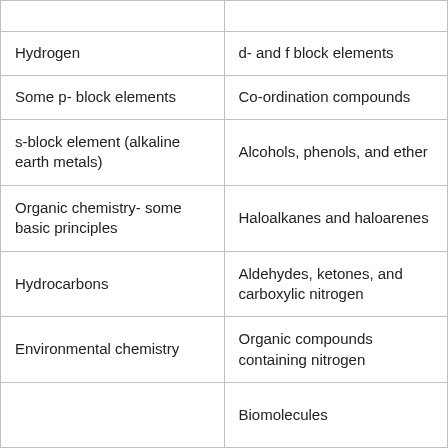|  |  |
| Hydrogen | d- and f block elements |
| Some p- block elements | Co-ordination compounds |
| s-block element (alkaline earth metals) | Alcohols, phenols, and ether |
| Organic chemistry- some basic principles | Haloalkanes and haloarenes |
| Hydrocarbons | Aldehydes, ketones, and carboxylic nitrogen |
| Environmental chemistry | Organic compounds containing nitrogen |
|  | Biomolecules |